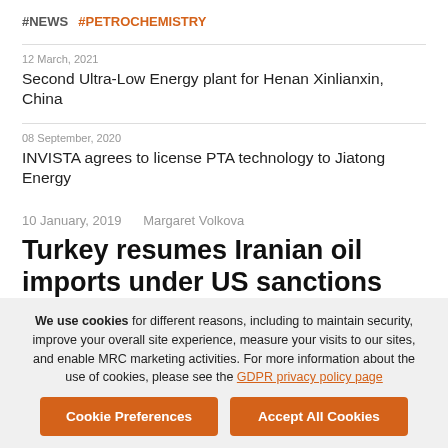#NEWS #PETROCHEMISTRY
12 March, 2021
Second Ultra-Low Energy plant for Henan Xinlianxin, China
08 September, 2020
INVISTA agrees to license PTA technology to Jiatong Energy
10 January, 2019    Margaret Volkova
Turkey resumes Iranian oil imports under US sanctions waiver
MOSCOW (MRC) – Turkey has resumed imports of Iranian crude
We use cookies for different reasons, including to maintain security, improve your overall site experience, measure your visits to our sites, and enable MRC marketing activities. For more information about the use of cookies, please see the GDPR privacy policy page
Cookie Preferences
Accept All Cookies